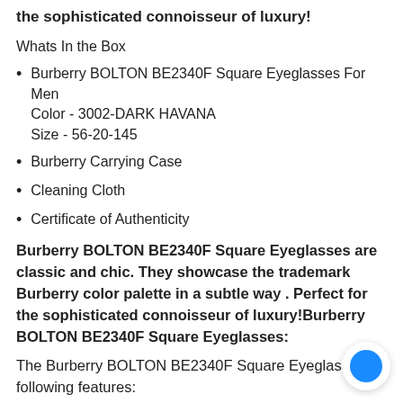the sophisticated connoisseur of luxury!
Whats In the Box
Burberry BOLTON BE2340F Square Eyeglasses For Men Color - 3002-DARK HAVANA Size - 56-20-145
Burberry Carrying Case
Cleaning Cloth
Certificate of Authenticity
Burberry BOLTON BE2340F Square Eyeglasses are classic and chic. They showcase the trademark Burberry color palette in a subtle way . Perfect for the sophisticated connoisseur of luxury!Burberry BOLTON BE2340F Square Eyeglasses:
The Burberry BOLTON BE2340F Square Eyeglasses in following features: